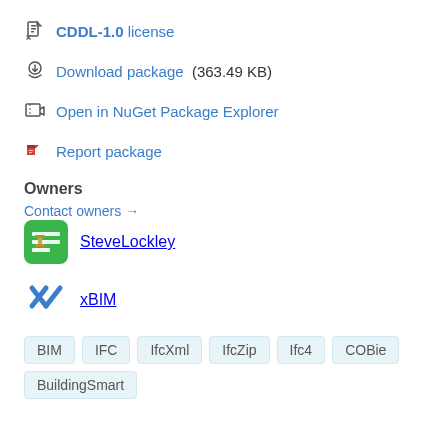CDDL-1.0 license
Download package (363.49 KB)
Open in NuGet Package Explorer
Report package
Owners
Contact owners →
SteveLockley
xBIM
BIM IFC IfcXml IfcZip Ifc4 COBie BuildingSmart